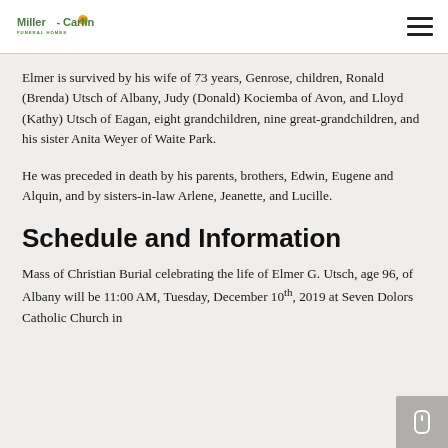Miller-Carlin Funeral Homes
Elmer is survived by his wife of 73 years, Genrose, children, Ronald (Brenda) Utsch of Albany, Judy (Donald) Kociemba of Avon, and Lloyd (Kathy) Utsch of Eagan, eight grandchildren, nine great-grandchildren, and his sister Anita Weyer of Waite Park.
He was preceded in death by his parents, brothers, Edwin, Eugene and Alquin, and by sisters-in-law Arlene, Jeanette, and Lucille.
Schedule and Information
Mass of Christian Burial celebrating the life of Elmer G. Utsch, age 96, of Albany will be 11:00 AM, Tuesday, December 10th, 2019 at Seven Dolors Catholic Church in